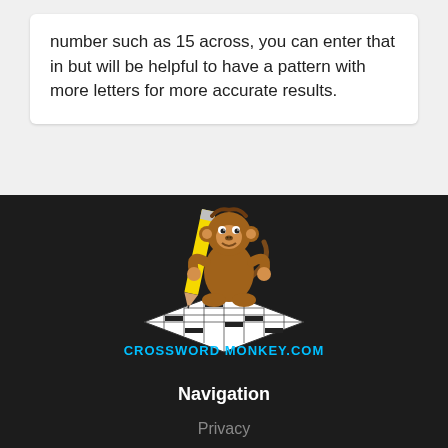number such as 15 across, you can enter that in but will be helpful to have a pattern with more letters for more accurate results.
[Figure (logo): Crossword Monkey logo: cartoon monkey holding a yellow pencil over a crossword grid, with text 'CROSSWORD MONKEY.COM' in cyan]
Navigation
Privacy
About us
Crosswords